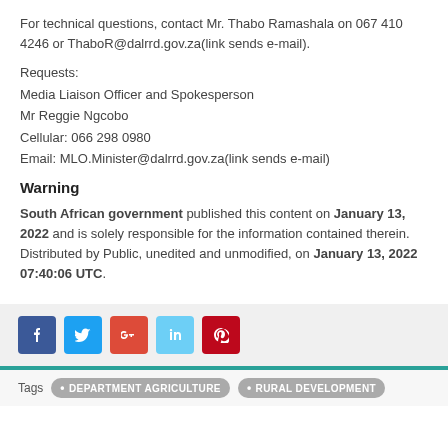For technical questions, contact Mr. Thabo Ramashala on 067 410 4246 or ThaboR@dalrrd.gov.za(link sends e-mail).
Requests:
Media Liaison Officer and Spokesperson
Mr Reggie Ngcobo
Cellular: 066 298 0980
Email: MLO.Minister@dalrrd.gov.za(link sends e-mail)
Warning
South African government published this content on January 13, 2022 and is solely responsible for the information contained therein. Distributed by Public, unedited and unmodified, on January 13, 2022 07:40:06 UTC.
[Figure (infographic): Row of 5 social media share buttons: Facebook (dark blue), Twitter (light blue), Google+ (red-orange), LinkedIn (light blue), Pinterest (red)]
Tags  • DEPARTMENT AGRICULTURE  • RURAL DEVELOPMENT